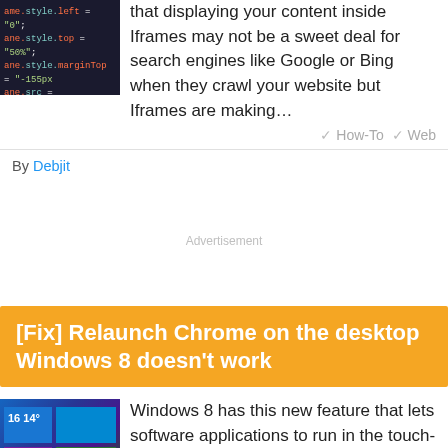[Figure (screenshot): Screenshot of code in a dark IDE/editor showing JavaScript code with colored syntax highlighting on a dark background]
that displaying your content inside Iframes may not be a sweet deal for search engines like Google or Bing when they crawl your website but Iframes are making…
How-To  Web
By Debjit
Advertisement
[Fix] Relaunch Chrome on the desktop Windows 8 doesn't work
[Figure (screenshot): Screenshot of Windows 8 metro UI with tiles showing weather with temperature 16 and 14 degrees]
Windows 8 has this new feature that lets software applications to run in the touch-friendly metro UI mode. It takes